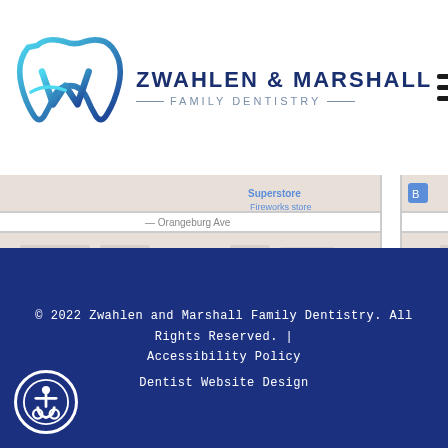[Figure (logo): Zwahlen & Marshall Family Dentistry logo with stylized tooth/W icon in blue gradient and company name]
[Figure (map): Google Maps screenshot showing area with Orange Garden Apartments, Spartan Manor Senior Apartment, Fireworks store, Collier Ave street label, partial text for Boys Inn by and Days Inn, with location pin]
© 2022 Zwahlen and Marshall Family Dentistry. All Rights Reserved. | Accessibility Policy
Dentist Website Design